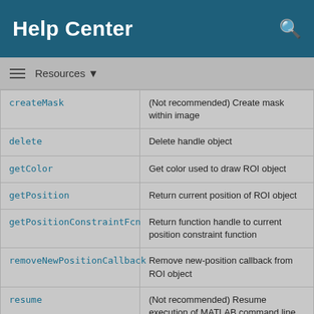Help Center
Resources ▼
| Function | Description |
| --- | --- |
| createMask | (Not recommended) Create mask within image |
| delete | Delete handle object |
| getColor | Get color used to draw ROI object |
| getPosition | Return current position of ROI object |
| getPositionConstraintFcn | Return function handle to current position constraint function |
| removeNewPositionCallback | Remove new-position callback from ROI object |
| resume | (Not recommended) Resume execution of MATLAB command line |
| setColor | (Not recommended) Set color used to draw ROI object |